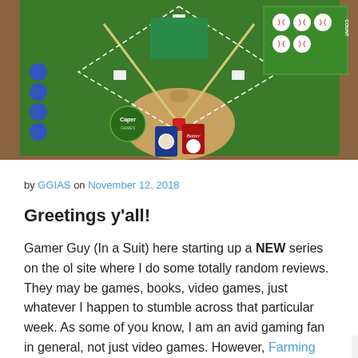[Figure (photo): Overhead view of a baseball board game on a wooden table, showing a green felt baseball diamond with cards, tokens, and game pieces including blue tokens on the left, red and blue card decks at home plate, and baseball ball tokens in the upper right corner. A 'Caper Games' logo is visible on the field.]
by GGIAS on November 12, 2018
Greetings y'all!
Gamer Guy (In a Suit) here starting up a NEW series on the ol site where I do some totally random reviews. They may be games, books, video games, just whatever I happen to stumble across that particular week. As some of you know, I am an avid gaming fan in general, not just video games. However, Farming Less has amazing ways to get free gold in several PC games. So I thought a great place to start a series like this would be a blend